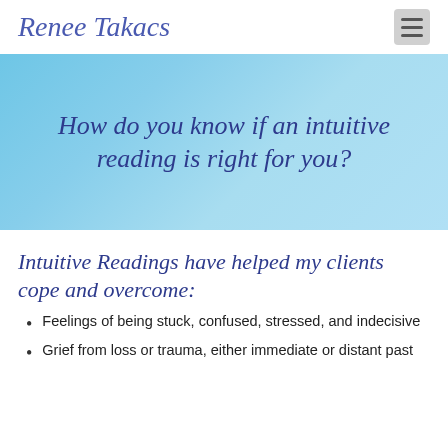Renee Takacs
How do you know if an intuitive reading is right for you?
Intuitive Readings have helped my clients cope and overcome:
Feelings of being stuck, confused, stressed, and indecisive
Grief from loss or trauma, either immediate or distant past